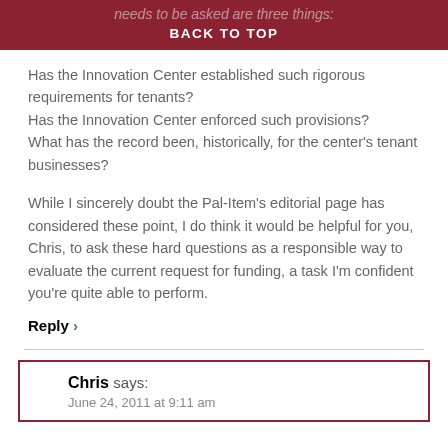needs to be asked are three things: BACK TO TOP
Has the Innovation Center established such rigorous requirements for tenants?
Has the Innovation Center enforced such provisions?
What has the record been, historically, for the center's tenant businesses?
While I sincerely doubt the Pal-Item's editorial page has considered these point, I do think it would be helpful for you, Chris, to ask these hard questions as a responsible way to evaluate the current request for funding, a task I'm confident you're quite able to perform.
Reply ›
Chris says:
June 24, 2011 at 9:11 am